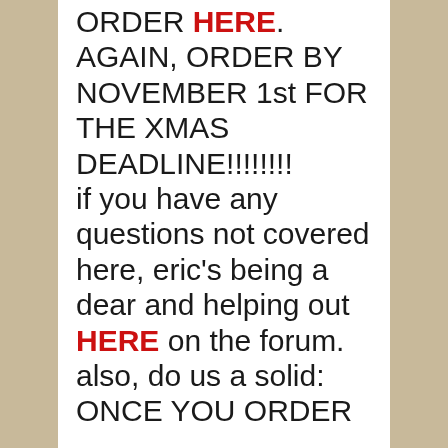ORDER HERE. AGAIN, ORDER BY NOVEMBER 1st FOR THE XMAS DEADLINE!!!!!!!!! if you have any questions not covered here, eric's being a dear and helping out HERE on the forum. also, do us a solid: ONCE YOU ORDER